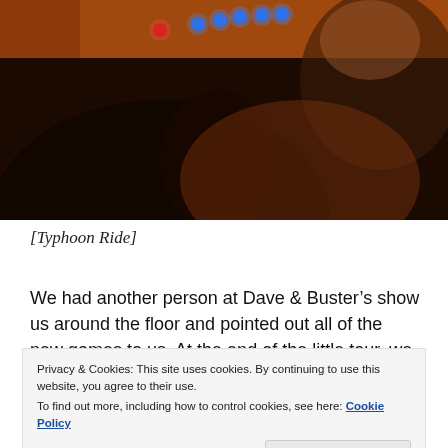[Figure (photo): Photo of people inside a dark arcade or game attraction with orange/warm lighting, blue LED buttons visible on a panel, and a person in the foreground wearing a dark shirt holding a controller.]
[Typhoon Ride]
We had another person at Dave & Buster’s show us around the floor and pointed out all of the new games to us. At the end of the little tour, we were next to this
Privacy & Cookies: This site uses cookies. By continuing to use this website, you agree to their use.
To find out more, including how to control cookies, see here: Cookie Policy
simulate the whole experience. I did a couple of the tracks